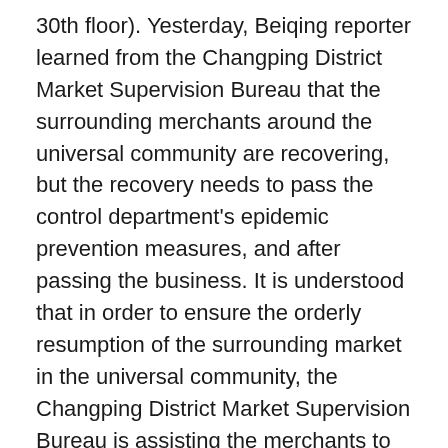30th floor). Yesterday, Beiqing reporter learned from the Changping District Market Supervision Bureau that the surrounding merchants around the universal community are recovering, but the recovery needs to pass the control department's epidemic prevention measures, and after passing the business. It is understood that in order to ensure the orderly resumption of the surrounding market in the universal community, the Changping District Market Supervision Bureau is assisting the merchants to do acceptance.
At present, there is a guidance and inspection of 29 households around the Sandy Baizhuang Xiyi District and 29 households around the Xinyue Home Community of Chengbei Street, requiring merchants to implement measures for the implementation of epidemic prevention and control. As of November 12th, 18 households around Shahe Bazhuang Xiyi